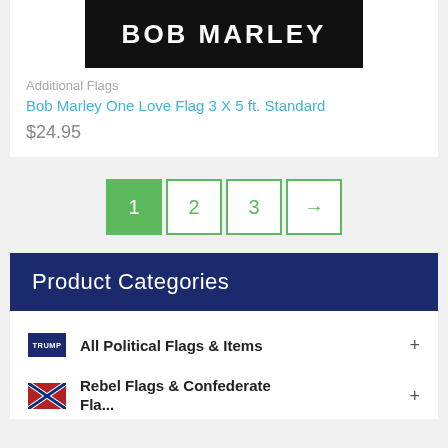[Figure (photo): Bob Marley flag product image showing 'BOB MARLEY' text on dark background]
Additional Flags
Bob Marley One Love Flag 3 X 5 ft. Standard
$24.95
[Figure (other): Pagination controls showing pages 1, 2, 3 and next arrow. Page 1 is active (green filled), others outlined in green.]
Product Categories
All Political Flags & Items +
Rebel Flags & Confederate Flags +